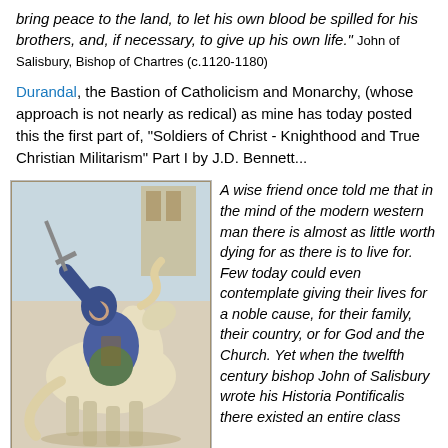bring peace to the land, to let his own blood be spilled for his brothers, and, if necessary, to give up his own life." John of Salisbury, Bishop of Chartres (c.1120-1180)
Durandal, the Bastion of Catholicism and Monarchy, (whose approach is not nearly as redical) as mine has today posted this the first part of, "Soldiers of Christ - Knighthood and True Christian Militarism" Part I by J.D. Bennett...
[Figure (illustration): Medieval manuscript illustration of a knight in blue armor on horseback, raising a sword, in the style of a 12th-century illuminated manuscript]
A wise friend once told me that in the mind of the modern western man there is almost as little worth dying for as there is to live for. Few today could even contemplate giving their lives for a noble cause, for their family, their country, or for God and the Church. Yet when the twelfth century bishop John of Salisbury wrote his Historia Pontificalis there existed an entire class